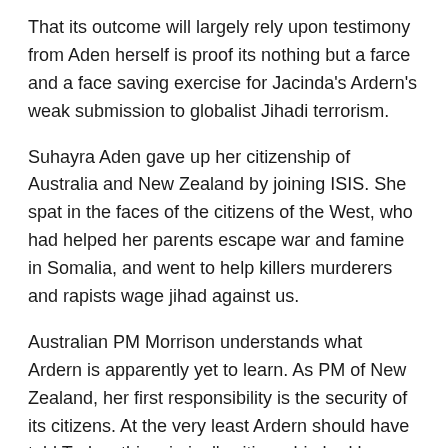That its outcome will largely rely upon testimony from Aden herself is proof its nothing but a farce and a face saving exercise for Jacinda's Ardern's weak submission to globalist Jihadi terrorism.
Suhayra Aden gave up her citizenship of Australia and New Zealand by joining ISIS. She spat in the faces of the citizens of the West, who had helped her parents escape war and famine in Somalia, and went to help killers murderers and rapists wage jihad against us.
Australian PM Morrison understands what Ardern is apparently yet to learn. As PM of New Zealand, her first responsibility is the security of its citizens. At the very least Ardern should have told Turkey this criminal's citizenship had been formally revoked and it was up to that country to deal with Aden as they saw fit.